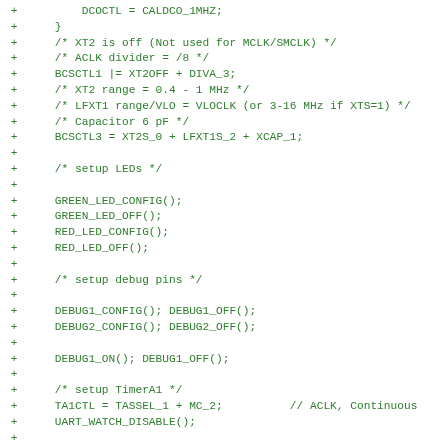[Figure (screenshot): Source code diff view showing C code additions (green '+' lines) for embedded system initialization including DCO clock, LED, debug pins, TimerA1, and UART setup]